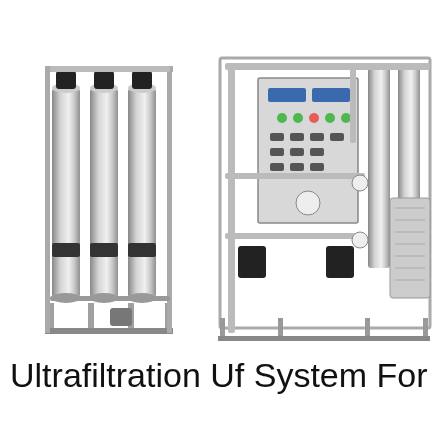[Figure (photo): Two industrial ultrafiltration water treatment units on stainless steel frames. Left unit has four tall cylindrical stainless steel filter vessels. Right unit is a larger system with a control panel, pumps, piping, and filtration membranes.]
Ultrafiltration Uf System For